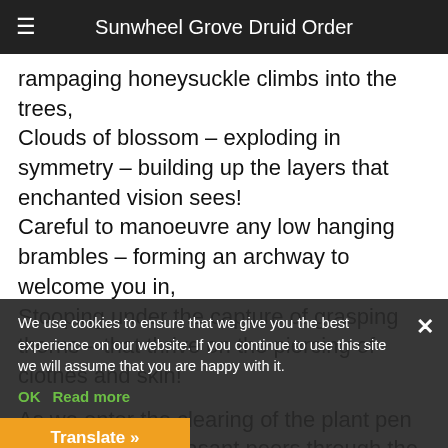Sunwheel Grove Druid Order
rampaging honeysuckle climbs into the trees,
Clouds of blossom – exploding in symmetry – building up the layers that enchanted vision sees!
Careful to manoeuvre any low hanging brambles – forming an archway to welcome you in,
Stooping under the capture of grasping thorns – that thrive on the piercing of clothes and skin!
As we enter the clearing of the plant pen structure – a Pheasant peers through the green,
Happy to wander the ditch and its contours – a long time hidden until recently seen!
We start with a meeting – moving chairs into the shade – rounding up a table that shows its age,
Distracted by the arrival of a fledgling Robin – boldly investigating at every stage!
We use cookies to ensure that we give you the best experience on our website. If you continue to use this site we will assume that you are happy with it.
OK   Read more
Translate »